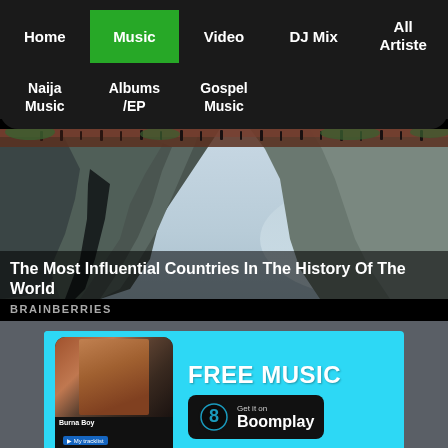Home | Music | Video | DJ Mix | All Artiste | Naija Music | Albums /EP | Gospel Music
[Figure (photo): Aerial photo of dramatic cliff face with people walking on a sky walkway, mist in background]
The Most Influential Countries In The History Of The World
BRAINBERRIES
[Figure (infographic): Boomplay music app advertisement banner with FREE MUSIC text and Get it on Boomplay button, showing Burna Boy on phone screen]